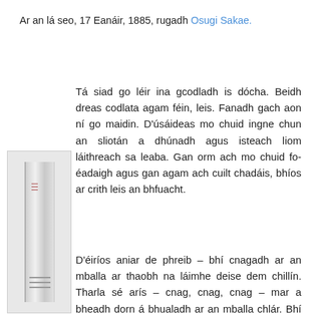Ar an lá seo, 17 Eanáir, 1885, rugadh Osugi Sakae.
Tá siad go léir ina gcodladh is dócha. Beidh dreas codlata agam féin, leis. Fanadh gach aon ní go maidin. D'úsáideas mo chuid ingne chun an sliotán a dhúnadh agus isteach liom láithreach sa leaba. Gan orm ach mo chuid fo-éadaigh agus gan agam ach cuilt chadáis, bhíos ar crith leis an bhfuacht.
[Figure (photo): A book spine visible on the left side of the page, partially shown, with red text markings and horizontal lines on the spine against a gray background.]
D'éiríos aniar de phreib – bhí cnagadh ar an mballa ar thaobh na láimhe deise dem chillín. Tharla sé arís – cnag, cnag, cnag – mar a bheadh dorn á bhualadh ar an mballa chlár. Bhí léite agam go